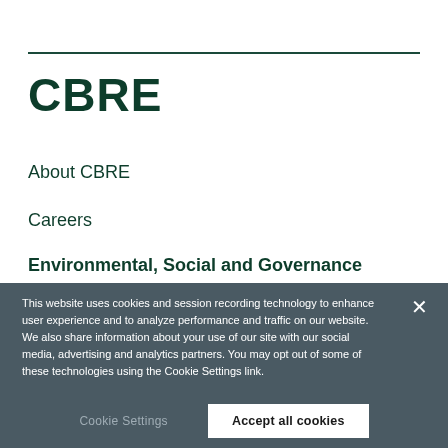[Figure (logo): CBRE company logo in dark green bold text]
About CBRE
Careers
Environmental, Social and Governance
This website uses cookies and session recording technology to enhance user experience and to analyze performance and traffic on our website. We also share information about your use of our site with our social media, advertising and analytics partners. You may opt out of some of these technologies using the Cookie Settings link.
Cookie Settings
Accept all cookies